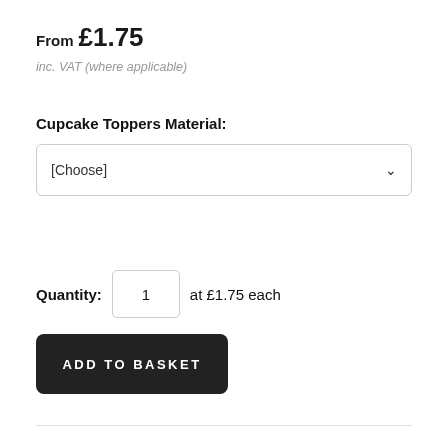From £1.75
inc. VAT (where applicable)
Cupcake Toppers Material:
[Choose]
Quantity: 1  at £1.75 each
ADD TO BASKET